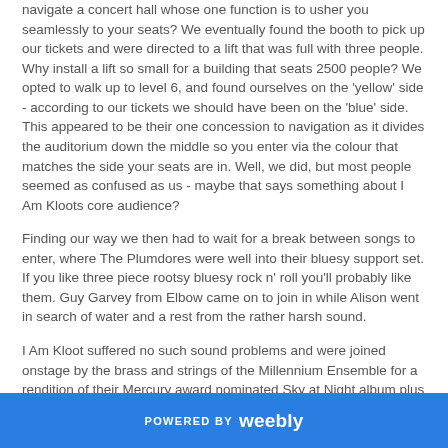navigate a concert hall whose one function is to usher you seamlessly to your seats? We eventually found the booth to pick up our tickets and were directed to a lift that was full with three people. Why install a lift so small for a building that seats 2500 people? We opted to walk up to level 6, and found ourselves on the 'yellow' side - according to our tickets we should have been on the 'blue' side. This appeared to be their one concession to navigation as it divides the auditorium down the middle so you enter via the colour that matches the side your seats are in. Well, we did, but most people seemed as confused as us - maybe that says something about I Am Kloots core audience?
Finding our way we then had to wait for a break between songs to enter, where The Plumdores were well into their bluesy support set. If you like three piece rootsy bluesy rock n' roll you'll probably like them. Guy Garvey from Elbow came on to join in while Alison went in search of water and a rest from the rather harsh sound.
I Am Kloot suffered no such sound problems and were joined onstage by the brass and strings of the Millennium Ensemble for a rendition of their Mercury award nominated Sky at Night album plus
POWERED BY weebly